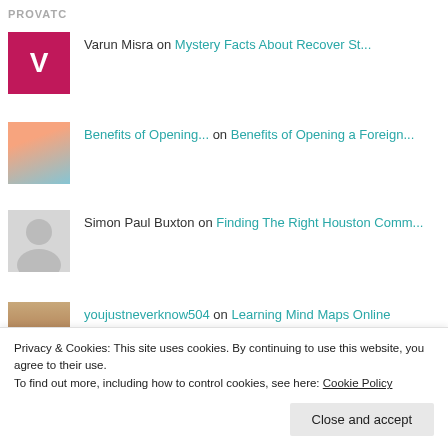PROVATC
Varun Misra on Mystery Facts About Recover St...
Benefits of Opening... on Benefits of Opening a Foreign...
Simon Paul Buxton on Finding The Right Houston Comm...
youjustneverknow504 on Learning Mind Maps Online
Privacy & Cookies: This site uses cookies. By continuing to use this website, you agree to their use. To find out more, including how to control cookies, see here: Cookie Policy
Close and accept